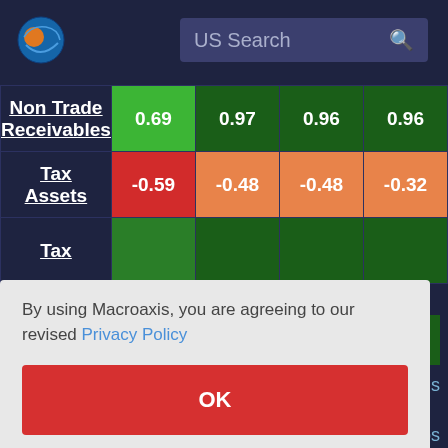[Figure (screenshot): Macroaxis website logo - orange and blue globe icon]
US Search
|  | Col1 | Col2 | Col3 | Col4 |
| --- | --- | --- | --- | --- |
| Non Trade Receivables | 0.69 | 0.97 | 0.96 | 0.96 |
| Tax Assets | -0.59 | -0.48 | -0.48 | -0.32 |
| Tax |  |  |  | 0.89 |
By using Macroaxis, you are agreeing to our revised Privacy Policy
OK